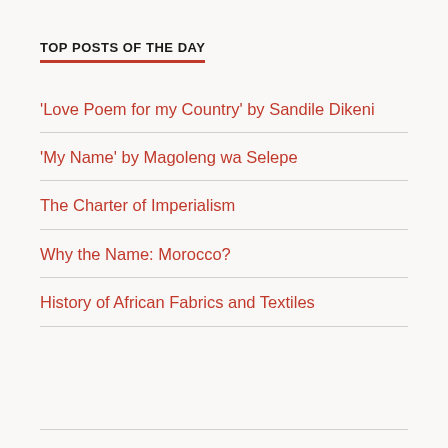TOP POSTS OF THE DAY
'Love Poem for my Country' by Sandile Dikeni
'My Name' by Magoleng wa Selepe
The Charter of Imperialism
Why the Name: Morocco?
History of African Fabrics and Textiles